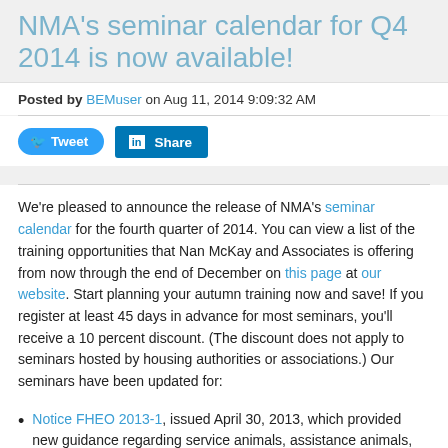NMA's seminar calendar for Q4 2014 is now available!
Posted by BEMuser on Aug 11, 2014 9:09:32 AM
[Figure (other): Tweet and Share social media buttons]
We're pleased to announce the release of NMA's seminar calendar for the fourth quarter of 2014. You can view a list of the training opportunities that Nan McKay and Associates is offering from now through the end of December on this page at our website. Start planning your autumn training now and save! If you register at least 45 days in advance for most seminars, you'll receive a 10 percent discount. (The discount does not apply to seminars hosted by housing authorities or associations.) Our seminars have been updated for:
Notice FHEO 2013-1, issued April 30, 2013, which provided new guidance regarding service animals, assistance animals, and pets
The Federal Register notice published August 6, 2013,